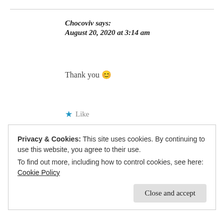Chocoviv says: August 20, 2020 at 3:14 am
Thank you 😊
★ Like
Reply
Privacy & Cookies: This site uses cookies. By continuing to use this website, you agree to their use.
To find out more, including how to control cookies, see here: Cookie Policy
Close and accept